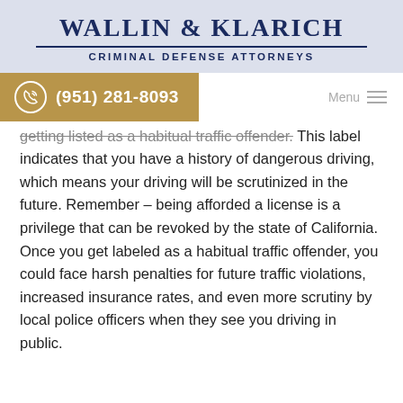Wallin & Klarich Criminal Defense Attorneys
(951) 281-8093 | Menu
getting listed as a habitual traffic offender. This label indicates that you have a history of dangerous driving, which means your driving will be scrutinized in the future. Remember – being afforded a license is a privilege that can be revoked by the state of California. Once you get labeled as a habitual traffic offender, you could face harsh penalties for future traffic violations, increased insurance rates, and even more scrutiny by local police officers when they see you driving in public.